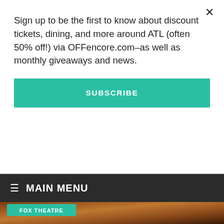Sign up to be the first to know about discount tickets, dining, and more around ATL (often 50% off!) via OFFencore.com–as well as monthly giveaways and news.
SUBSCRIBE
≡  MAIN MENU
[Figure (photo): Interior of the Fox Theatre in Atlanta showing ornate Moorish-style decor, stage with colorful curtains, and theatrical lighting with purple and warm orange hues.]
FOX THEATRE
Fox Fun Facts | The beautiful Fox Theatre carpet
Jul. 15, 2020 - by Encore Atlanta